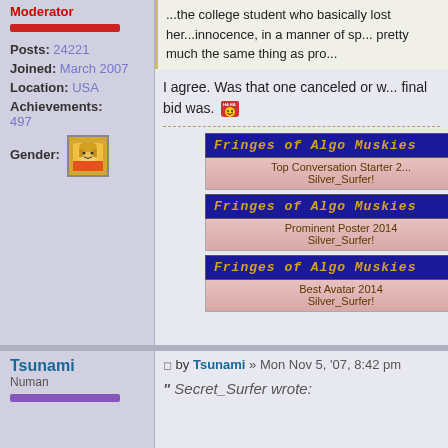...the college student who basically lost her...innocence, in a manner of sp... pretty much the same thing as pro...
I agree. Was that one canceled or w... final bid was. [laughing emoji]
[Figure (illustration): Three Fringes of Algo Muskies award badges: Top Conversation Starter 2..., Prominent Poster 2014, Best Avatar 2014, all awarded to Silver_Surfer!]
Posts: 24221
Joined: March 2007
Location: USA
Achievements: 497
Gender: [avatar image]
Moderator
Tsunami
Numan
by Tsunami » Mon Nov 5, '07, 8:42 pm
"Secret_Surfer wrote: